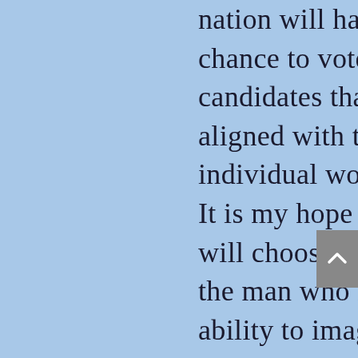nation will have the chance to vote for candidates that are aligned with their individual worldviews. It is my hope that they will choose the builder, the man who has the ability to imagine the greatness of this nation. The next President must follow those principles that work best and that reinforce the